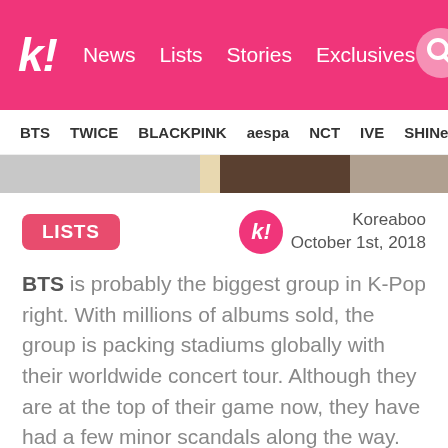k! News Lists Stories Exclusives
BTS TWICE BLACKPINK aespa NCT IVE SHINe
[Figure (photo): Partial image strip showing cropped photos]
LISTS
Koreaboo
October 1st, 2018
BTS is probably the biggest group in K-Pop right. With millions of albums sold, the group is packing stadiums globally with their worldwide concert tour. Although they are at the top of their game now, they have had a few minor scandals along the way. Let's take a look at BTS' worst scandals.